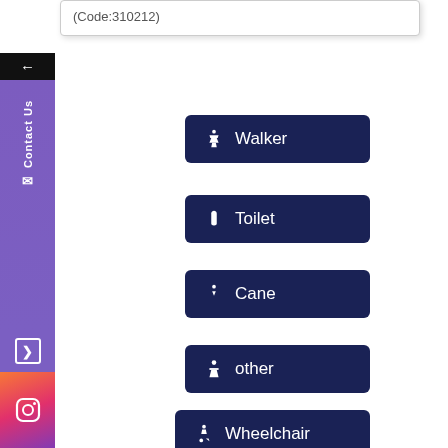(Code:310212)
Walker
Toilet
Cane
other
Wheelchair